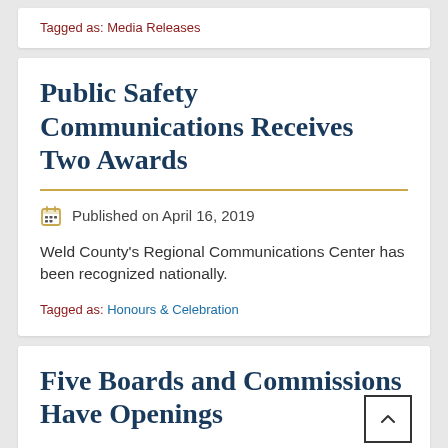Tagged as: Media Releases
Public Safety Communications Receives Two Awards
Published on April 16, 2019
Weld County's Regional Communications Center has been recognized nationally.
Tagged as: Honours & Celebration
Five Boards and Commissions Have Openings